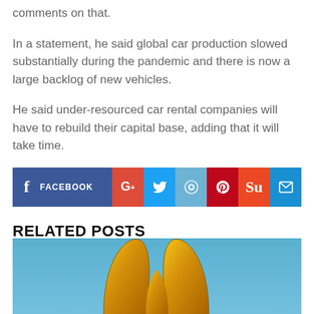comments on that.
In a statement, he said global car production slowed substantially during the pandemic and there is now a large backlog of new vehicles.
He said under-resourced car rental companies will have to rebuild their capital base, adding that it will take time.
[Figure (infographic): Social sharing buttons: Facebook, Google+, Twitter, Reddit, Pinterest, StumbleUpon, Email]
RELATED POSTS
[Figure (photo): McDonald's golden arches logo on a blue sky background]